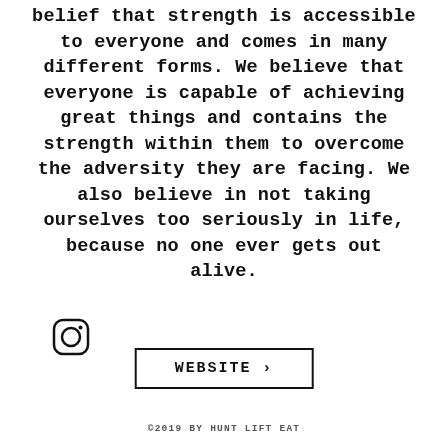belief that strength is accessible to everyone and comes in many different forms. We believe that everyone is capable of achieving great things and contains the strength within them to overcome the adversity they are facing. We also believe in not taking ourselves too seriously in life, because no one ever gets out alive.
[Figure (illustration): Instagram logo icon — rounded square outline with circle inside and small dot]
WEBSITE >
©2019 BY HUNT LIFT EAT